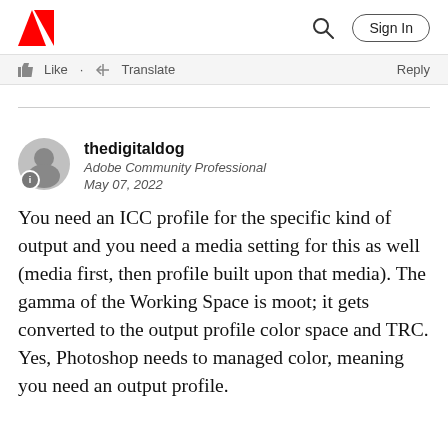Adobe | Sign In
Like  Translate  Reply
thedigitaldog
Adobe Community Professional
May 07, 2022
You need an ICC profile for the specific kind of output and you need a media setting for this as well (media first, then profile built upon that media). The gamma of the Working Space is moot; it gets converted to the output profile color space and TRC. Yes, Photoshop needs to managed color, meaning you need an output profile.